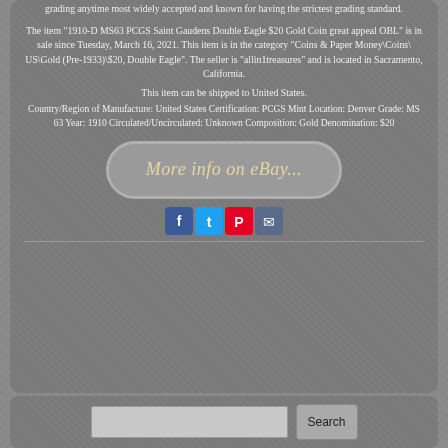grading anytime most widely accepted and known for having the strictest grading standard.
The item "1910-D MS63 PCGS Saint Gaudens Double Eagle $20 Gold Coin great appeal OBL" is in sale since Tuesday, March 16, 2021. This item is in the category "Coins & Paper Money\Coins\ US\Gold (Pre-1933)\$20, Double Eagle". The seller is "allin1treasures" and is located in Sacramento, California.
This item can be shipped to United States.
Country/Region of Manufacture: United States Certification: PCGS Mint Location: Denver Grade: MS 63 Year: 1910 Circulated/Uncirculated: Unknown Composition: Gold Denomination: $20
[Figure (screenshot): eBay button with text 'More info on eBay...' styled in italic cursive font on a rounded grey button]
[Figure (infographic): Social sharing icons: Facebook (blue), Twitter (blue), Pinterest (red), Email (blue-grey)]
Search bar with Search button